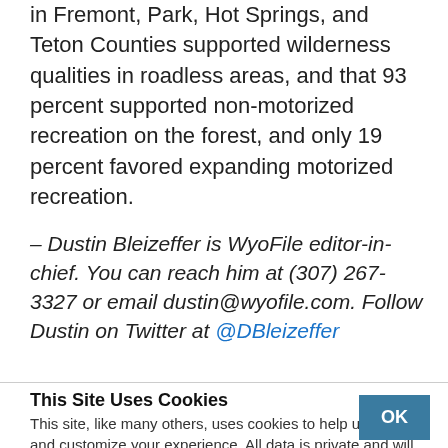in Fremont, Park, Hot Springs, and Teton Counties supported wilderness qualities in roadless areas, and that 93 percent supported non-motorized recreation on the forest, and only 19 percent favored expanding motorized recreation.
– Dustin Bleizeffer is WyoFile editor-in-chief. You can reach him at (307) 267-3327 or email dustin@wyofile.com. Follow Dustin on Twitter at @DBleizeffer
This Site Uses Cookies
This site, like many others, uses cookies to help us improve and customize your experience. All data is private and will not be shared with third parties.